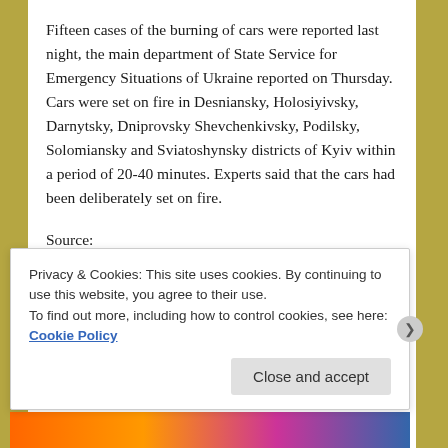Fifteen cases of the burning of cars were reported last night, the main department of State Service for Emergency Situations of Ukraine reported on Thursday. Cars were set on fire in Desniansky, Holosiyivsky, Darnytsky, Dniprovsky Shevchenkivsky, Podilsky, Solomiansky and Sviatoshynsky districts of Kyiv within a period of 20-40 minutes. Experts said that the cars had been deliberately set on fire.
Source: http://www.kyivpost.com/content/ukraine/fifteen-cars-burned-in-kyiv-at-night-337228.html
Putin Decides To Send Mediator To Ukraine
Privacy & Cookies: This site uses cookies. By continuing to use this website, you agree to their use. To find out more, including how to control cookies, see here: Cookie Policy